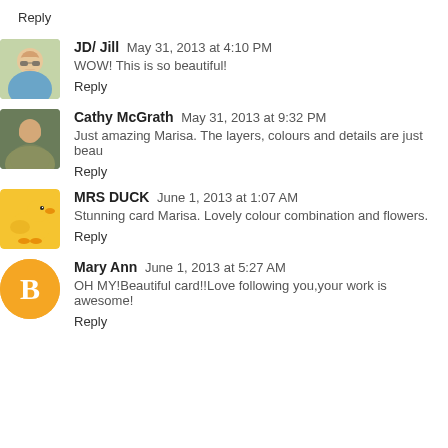Reply
JD/ Jill  May 31, 2013 at 4:10 PM
WOW! This is so beautiful!
Reply
Cathy McGrath  May 31, 2013 at 9:32 PM
Just amazing Marisa. The layers, colours and details are just beau
Reply
MRS DUCK  June 1, 2013 at 1:07 AM
Stunning card Marisa. Lovely colour combination and flowers.
Reply
Mary Ann  June 1, 2013 at 5:27 AM
OH MY!Beautiful card!!Love following you,your work is awesome!
Reply